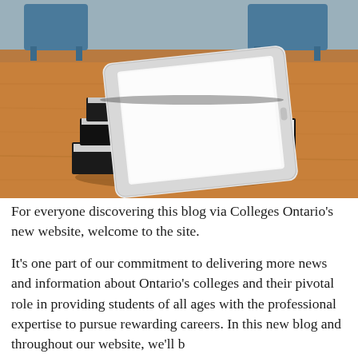[Figure (photo): Stack of black hardcover books with a white tablet/iPad on top, placed on a wooden desk. Blue chairs visible in the background.]
For everyone discovering this blog via Colleges Ontario's new website, welcome to the site.
It's one part of our commitment to delivering more news and information about Ontario's colleges and their pivotal role in providing students of all ages with the professional expertise to pursue rewarding careers. In this new blog and throughout our website, we'll be